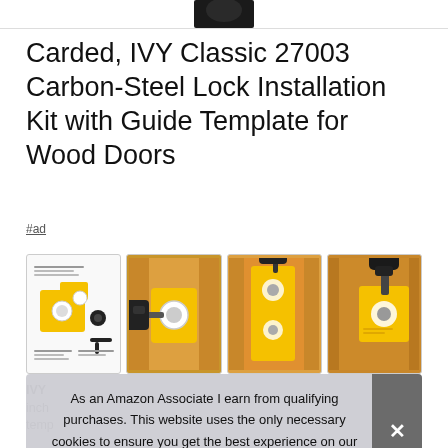[Figure (photo): Partial product image at top of page, dark object on white background]
Carded, IVY Classic 27003 Carbon-Steel Lock Installation Kit with Guide Template for Wood Doors
#ad
[Figure (photo): Four product thumbnail images showing the IVY Classic lock installation kit: diagram image, and three drill/installation action photos on wood door]
IVY
inch
template fits 1 5/8 inch and 2 5/7 inch backsets.
As an Amazon Associate I earn from qualifying purchases. This website uses the only necessary cookies to ensure you get the best experience on our website. More information